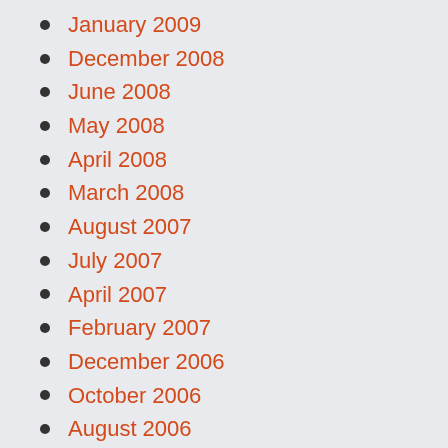January 2009
December 2008
June 2008
May 2008
April 2008
March 2008
August 2007
July 2007
April 2007
February 2007
December 2006
October 2006
August 2006
June 2006
May 2006
April 2006
March 2006
February 2006
January 2006